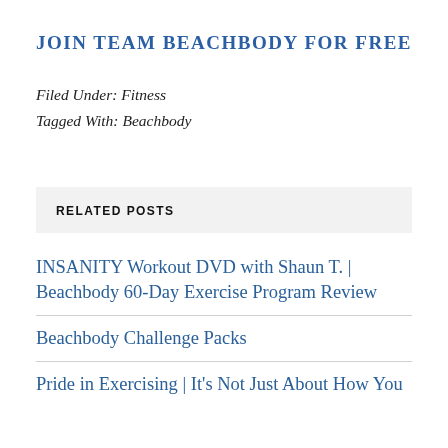JOIN TEAM BEACHBODY FOR FREE
Filed Under: Fitness
Tagged With: Beachbody
RELATED POSTS
INSANITY Workout DVD with Shaun T. | Beachbody 60-Day Exercise Program Review
Beachbody Challenge Packs
Pride in Exercising | It's Not Just About How You